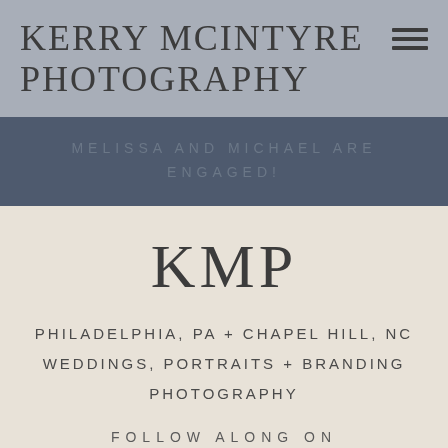KERRY MCINTYRE PHOTOGRAPHY
MELISSA AND MICHAEL ARE ENGAGED!
KMP
PHILADELPHIA, PA + CHAPEL HILL, NC
WEDDINGS, PORTRAITS + BRANDING PHOTOGRAPHY
FOLLOW ALONG ON